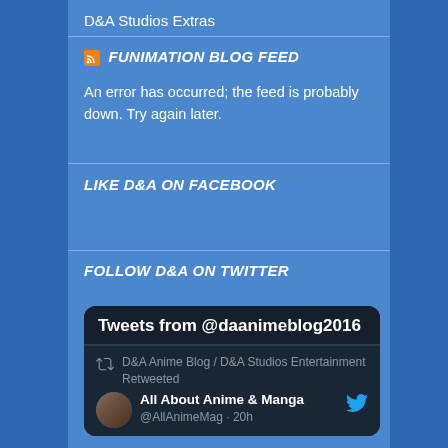D&A Studios Extras
FUNIMATION BLOG FEED
An error has occurred; the feed is probably down. Try again later.
LIKE D&A ON FACEBOOK
FOLLOW D&A ON TWITTER
[Figure (screenshot): Twitter embed widget showing 'Tweets from @daanimeblog2016' with a retweet from D&A Anime Blog / D&A Studios Entertainment, retweeting All About Anime & Manga (@AllAnimeMag · 20h)]